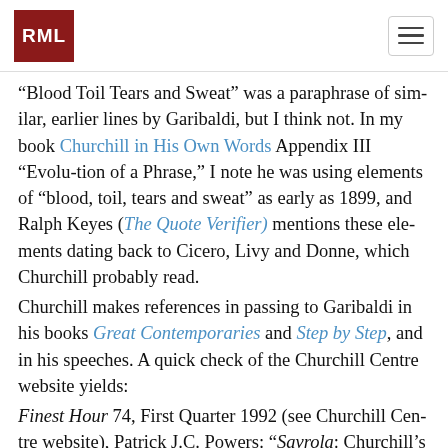RML [logo] [hamburger menu]
“Blood Toil Tears and Sweat” was a paraphrase of similar, earlier lines by Garibaldi, but I think not. In my book Churchill in His Own Words Appendix III “Evolution of a Phrase,” I note he was using elements of “blood, toil, tears and sweat” as early as 1899, and Ralph Keyes (The Quote Verifier) mentions these elements dating back to Cicero, Livy and Donne, which Churchill probably read.
Churchill makes references in passing to Garibaldi in his books Great Contemporaries and Step by Step, and in his speeches. A quick check of the Churchill Centre website yields:
Finest Hour 74, First Quarter 1992 (see Churchill Centre website), Patrick J.C. Powers: “Savrola: Churchill’s Premier Literary Work”: